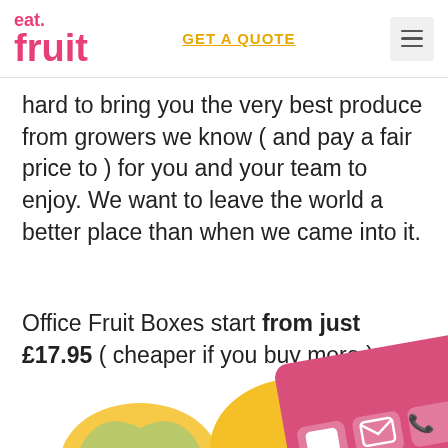eat fruit | GET A QUOTE | menu
hard to bring you the very best produce from growers we know ( and pay a fair price to ) for you and your team to enjoy. We want to leave the world a better place than when we came into it.
Office Fruit Boxes start from just £17.95 ( cheaper if you buy more )
[Figure (illustration): Partial illustration of a fruit delivery box/card with colorful icons including chat, email, and phone icons on a pink card background with yellow and purple decorative elements]